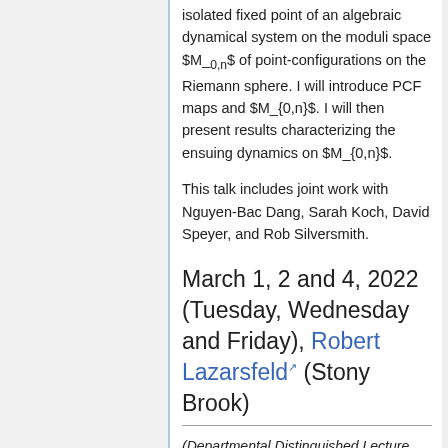isolated fixed point of an algebraic dynamical system on the moduli space $M_{0,n}$ of point-configurations on the Riemann sphere. I will introduce PCF maps and $M_{0,n}$. I will then present results characterizing the ensuing dynamics on $M_{0,n}$.
This talk includes joint work with Nguyen-Bac Dang, Sarah Koch, David Speyer, and Rob Silversmith.
March 1, 2 and 4, 2022 (Tuesday, Wednesday and Friday), Robert Lazarsfeld (Stony Brook)
(Departmental Distinguished Lecture series)
Public Lecture: Pythagorean triples and ...